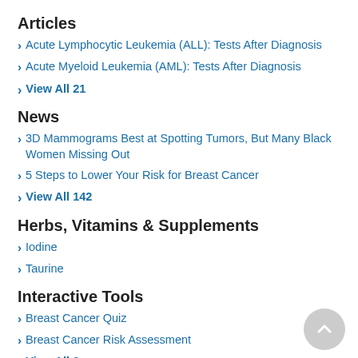Articles
Acute Lymphocytic Leukemia (ALL): Tests After Diagnosis
Acute Myeloid Leukemia (AML): Tests After Diagnosis
View All 21
News
3D Mammograms Best at Spotting Tumors, But Many Black Women Missing Out
5 Steps to Lower Your Risk for Breast Cancer
View All 142
Herbs, Vitamins & Supplements
Iodine
Taurine
Interactive Tools
Breast Cancer Quiz
Breast Cancer Risk Assessment
View All 3